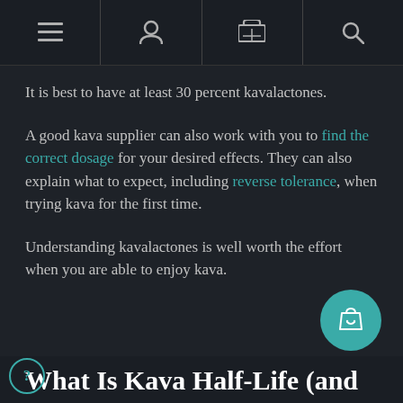[menu] [user] [cart] [search]
It is best to have at least 30 percent kavalactones.
A good kava supplier can also work with you to find the correct dosage for your desired effects. They can also explain what to expect, including reverse tolerance, when trying kava for the first time.
Understanding kavalactones is well worth the effort when you are able to enjoy kava.
What Is Kava Half-Life (and